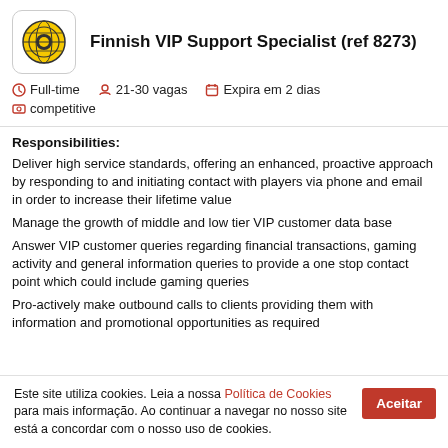Finnish VIP Support Specialist (ref 8273)
Full-time   21-30 vagas   Expira em 2 dias   competitive
Responsibilities:
Deliver high service standards, offering an enhanced, proactive approach by responding to and initiating contact with players via phone and email in order to increase their lifetime value
Manage the growth of middle and low tier VIP customer data base
Answer VIP customer queries regarding financial transactions, gaming activity and general information queries to provide a one stop contact point which could include gaming queries
Pro-actively make outbound calls to clients providing them with information and promotional opportunities as required
Este site utiliza cookies. Leia a nossa Política de Cookies para mais informação. Ao continuar a navegar no nosso site está a concordar com o nosso uso de cookies.